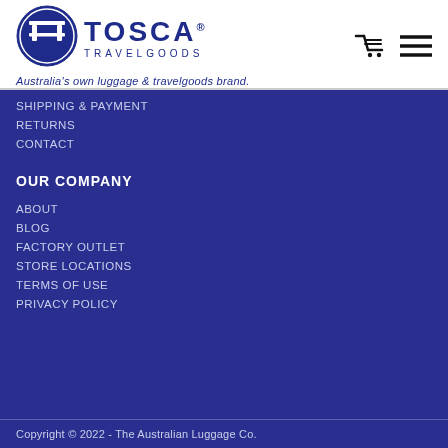[Figure (logo): Tosca Travelgoods logo with circular blue emblem and brand name]
Australia's own luggage & travelgoods brand.
SHIPPING & PAYMENT
RETURNS
CONTACT
OUR COMPANY
ABOUT
BLOG
FACTORY OUTLET
STORE LOCATIONS
TERMS OF USE
PRIVACY POLICY
Copyright © 2022 - The Australian Luggage Co.